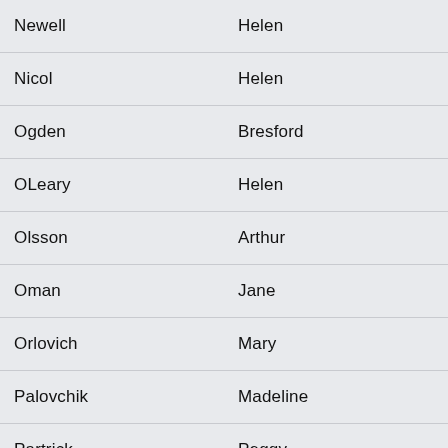| Newell | Helen |
| Nicol | Helen |
| Ogden | Bresford |
| OLeary | Helen |
| Olsson | Arthur |
| Oman | Jane |
| Orlovich | Mary |
| Palovchik | Madeline |
| Partrick | Peggy |